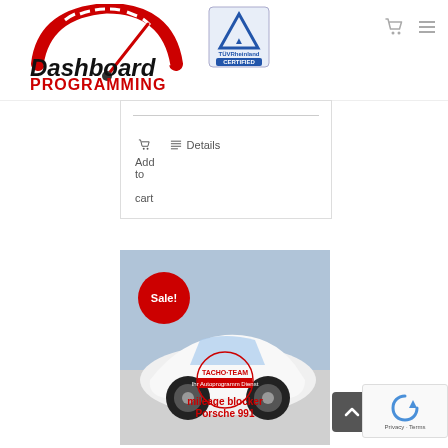[Figure (logo): Dashboard Programming logo with speedometer graphic and TUV Rheinland certified badge]
[Figure (screenshot): E-commerce product card with Add to cart and Details buttons]
[Figure (photo): White Porsche 991 car in showroom with Sale! badge overlay and Tacho-Team mileage blocker product overlay text]